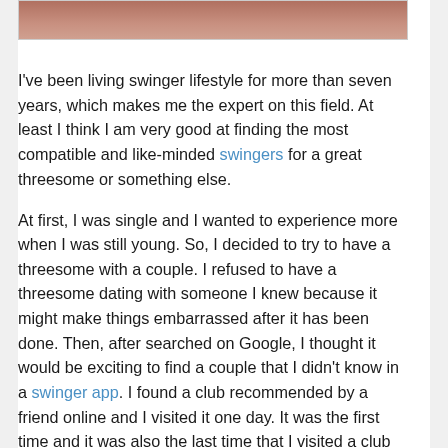[Figure (photo): Partial photo of people at top of page, cropped]
I've been living swinger lifestyle for more than seven years, which makes me the expert on this field. At least I think I am very good at finding the most compatible and like-minded swingers for a great threesome or something else.

At first, I was single and I wanted to experience more when I was still young. So, I decided to try to have a threesome with a couple. I refused to have a threesome dating with someone I knew because it might make things embarrassed after it has been done. Then, after searched on Google, I thought it would be exciting to find a couple that I didn't know in a swinger app. I found a club recommended by a friend online and I visited it one day. It was the first time and it was also the last time that I visited a club full of strangers. There were so many swinger couples and singles who were interested in find someone to have a threesome or live a swinger lifestyle. But I didn't like it because it seemed that we could only chat for several minutes before we went out to find a place to do it.